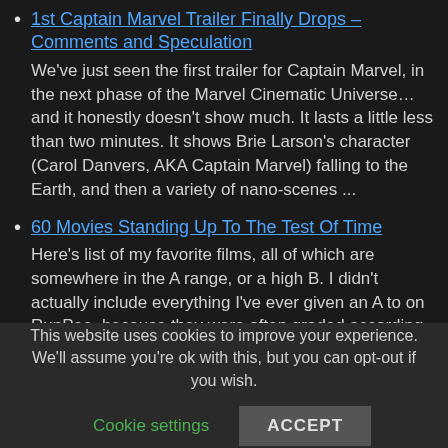1st Captain Marvel Trailer Finally Drops – Comments and Speculation
We've just seen the first trailer for Captain Marvel, in the next phase of the Marvel Cinematic Universe… and it honestly doesn't show much. It lasts a little less than two minutes. It shows Brie Larson's character (Carol Danvers, AKA Captain Marvel) falling to the Earth, and then a variety of nano-scenes ...
60 Movies Standing Up To The Test Of Time
Here's list of my favorite films, all of which are somewhere in the A range, or a high B. I didn't actually include everything I've ever given an A to on RunPee, because they were often graded according to the target audience, and aren't actually my personal faves.
This website uses cookies to improve your experience. We'll assume you're ok with this, but you can opt-out if you wish.
Cookie settings  ACCEPT